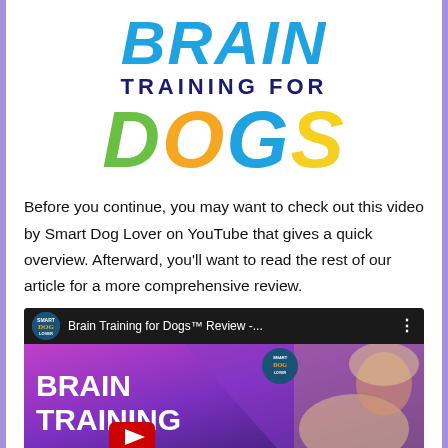[Figure (logo): Brain Training for Dogs logo with colorful text: BRAIN in blue italic, TRAINING FOR in dark navy, DOGS in multicolor (green D, orange O, blue G, yellow S)]
Before you continue, you may want to check out this video by Smart Dog Lover on YouTube that gives a quick overview. Afterward, you'll want to read the rest of our article for a more comprehensive review.
[Figure (screenshot): YouTube video thumbnail for 'Brain Training for Dogs™ Review -...' by Smart Dog Lover channel. Shows a magenta/purple background with white bold text 'BRAIN TRAINING' and a woman with a golden retriever dog on the right side. Red YouTube play button visible.]